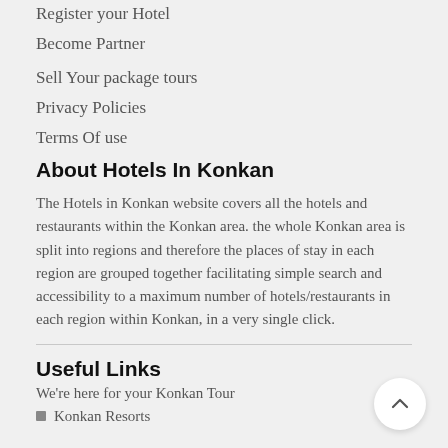Register your Hotel
Become Partner
Sell Your package tours
Privacy Policies
Terms Of use
About Hotels In Konkan
The Hotels in Konkan website covers all the hotels and restaurants within the Konkan area. the whole Konkan area is split into regions and therefore the places of stay in each region are grouped together facilitating simple search and accessibility to a maximum number of hotels/restaurants in each region within Konkan, in a very single click.
Useful Links
We're here for your Konkan Tour
Konkan Resorts